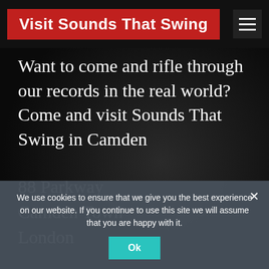Visit Sounds That Swing
Want to come and rifle through our records in the real world? Come and visit Sounds That Swing in Camden
88 Parkway
Camden Town
London
We use cookies to ensure that we give you the best experience on our website. If you continue to use this site we will assume that you are happy with it.